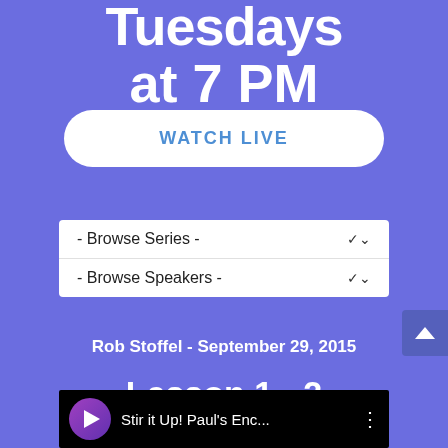Tuesdays at 7 PM
WATCH LIVE
- Browse Series -
- Browse Speakers -
Rob Stoffel - September 29, 2015
Lesson 1 - 2 Timothy 1:3-7
Stir it Up! Paul's Enc...